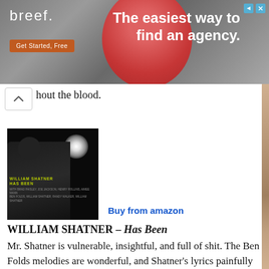[Figure (screenshot): Advertisement banner for breef.com showing a pink/red circular shape against a dark background, with the text 'The easiest way to find an agency.' and a 'Get Started, Free' button, plus skip/close icons in top right.]
hout the blood.
[Figure (photo): Album cover for William Shatner 'Has Been' - dark image of a figure with a bright spotlight, with the album title in yellow/green text overlay.]
Buy from amazon
WILLIAM SHATNER – Has Been
Mr. Shatner is vulnerable, insightful, and full of shit. The Ben Folds melodies are wonderful, and Shatner's lyrics painfully address such subjects as his failed relationship with his daughter and finding his wife's body floating in the swimming pool. He openly